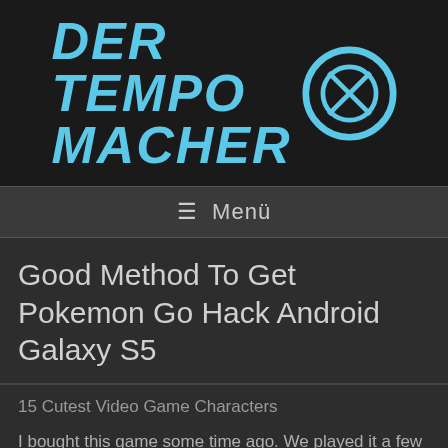[Figure (logo): Der Tempo Macher logo with cyan/blue stylized italic text and a circular speed icon]
≡  Menü
Good Method To Get Pokemon Go Hack Android Galaxy S5
15 Cutest Video Game Characters
I bought this game some time ago. We played it a few times and it has been collecting dust since. Before we could even see if it still worked, we had to replace the batteries in it.